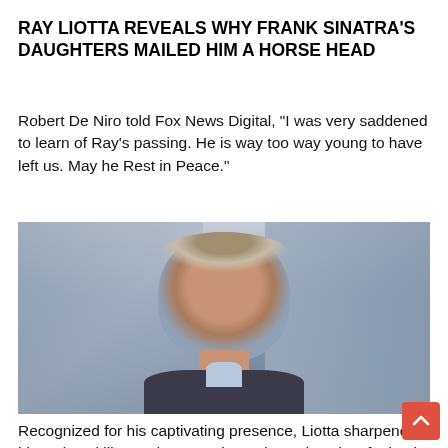RAY LIOTTA REVEALS WHY FRANK SINATRA'S DAUGHTERS MAILED HIM A HORSE HEAD
Robert De Niro told Fox News Digital, “I was very saddened to learn of Ray’s passing.  He is way too way young to have left us. May he Rest in Peace.”
[Figure (photo): Photo of Ray Liotta being interviewed, appearing on a television screen backdrop showing a busy city street scene with pedestrians and vehicles.]
Recognized for his captivating presence, Liotta sharpened his acting skill as a drama major at the University of Miami –